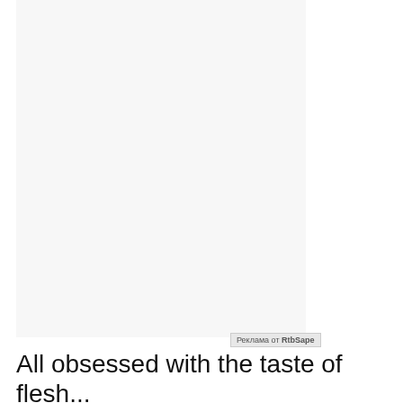[Figure (other): Large blank advertisement area with light gray background]
Реклама от RtbSape
All obsessed with the taste of flesh...
(same thing said backwards)
All obsessed with the taste of flesh...
(same thing said backwards)